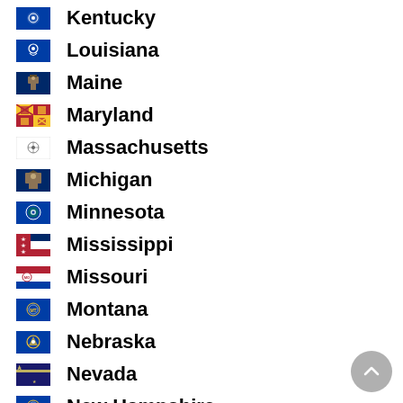Kentucky
Louisiana
Maine
Maryland
Massachusetts
Michigan
Minnesota
Mississippi
Missouri
Montana
Nebraska
Nevada
New Hampshire
New Jersey